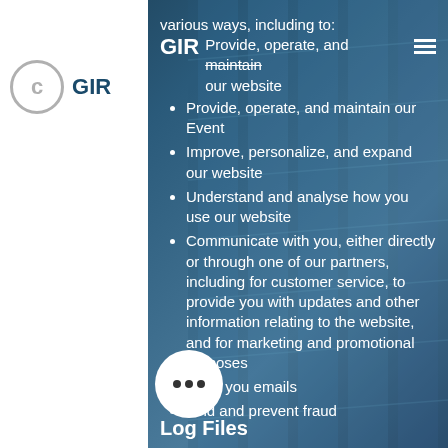various ways, including to:
Provide, operate, and maintain our website
Provide, operate, and maintain our Event
Improve, personalize, and expand our website
Understand and analyse how you use our website
Communicate with you, either directly or through one of our partners, including for customer service, to provide you with updates and other information relating to the website, and for marketing and promotional purposes
Send you emails
Find and prevent fraud
Log Files